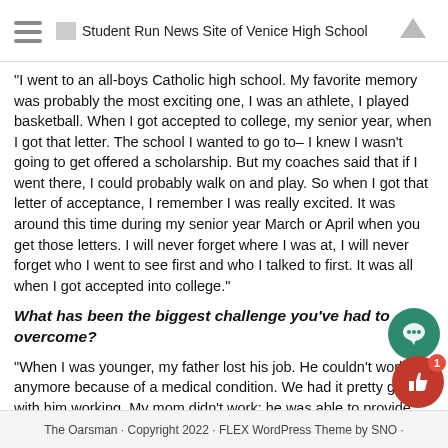Student Run News Site of Venice High School
“I went to an all-boys Catholic high school. My favorite memory was probably the most exciting one, I was an athlete, I played basketball. When I got accepted to college, my senior year, when I got that letter. The school I wanted to go to– I knew I wasn’t going to get offered a scholarship. But my coaches said that if I went there, I could probably walk on and play. So when I got that letter of acceptance, I remember I was really excited. It was around this time during my senior year March or April when you get those letters. I will never forget where I was at, I will never forget who I went to see first and who I talked to first. It was all when I got accepted into college.”
What has been the biggest challenge you’ve had to overcome?
“When I was younger, my father lost his job. He couldn’t work anymore because of a medical condition. We had it pretty good with him working. My mom didn’t work; he was able to provide. He worked for the Department of Water and Power for the county, had a really good job, but then medically he couldn’t work. So our
The Oarsman · Copyright 2022 · FLEX WordPress Theme by SNO ·